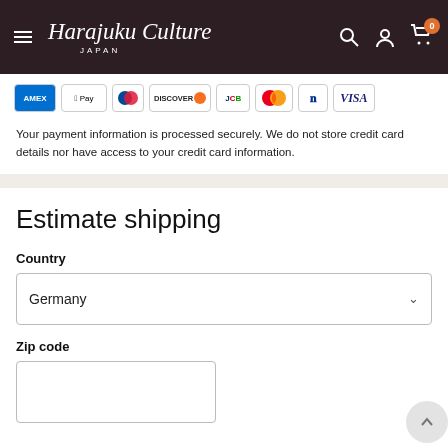Harajuku Culture JAPAN
[Figure (infographic): Payment method icons: AMEX, Apple Pay, Diners, Discover, JCB, Mastercard, PayPal, VISA]
Your payment information is processed securely. We do not store credit card details nor have access to your credit card information.
Estimate shipping
Country
Germany
Zip code